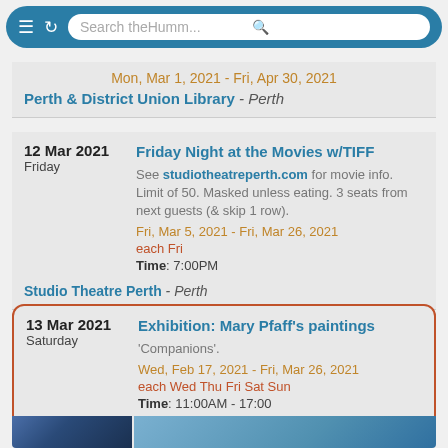Search theHumm...
Mon, Mar 1, 2021 - Fri, Apr 30, 2021
Perth & District Union Library - Perth
12 Mar 2021 Friday
Friday Night at the Movies w/TIFF
See studiotheatreperth.com for movie info. Limit of 50. Masked unless eating. 3 seats from next guests (& skip 1 row).
Fri, Mar 5, 2021 - Fri, Mar 26, 2021
each Fri
Time: 7:00PM
Studio Theatre Perth - Perth
13 Mar 2021 Saturday
Exhibition: Mary Pfaff's paintings
'Companions'.
Wed, Feb 17, 2021 - Fri, Mar 26, 2021
each Wed Thu Fri Sat Sun
Time: 11:00AM - 17:00
Sivarulrasa Gallery - Almonte